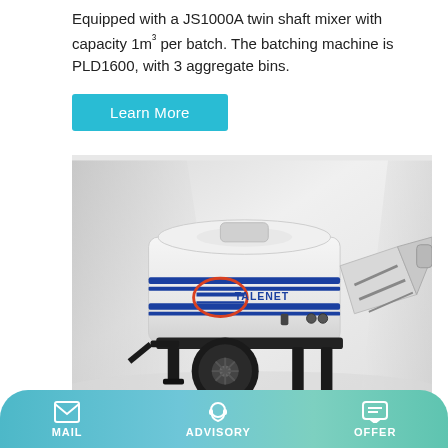Equipped with a JS1000A twin shaft mixer with capacity 1m³ per batch. The batching machine is PLD1600, with 3 aggregate bins.
Learn More
[Figure (photo): A white TALENET branded concrete pump / trailer-mounted mixer machine with blue stripes and an orange circle logo, photographed in a studio setting with a bright white background]
1000...
MAIL   ADVISORY   OFFER